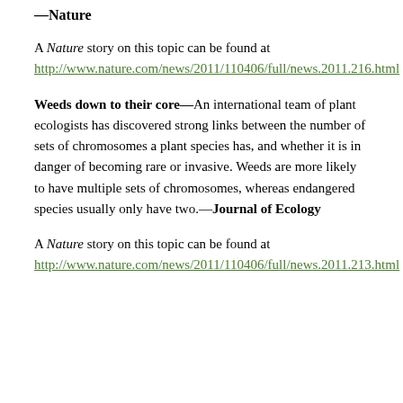—Nature
A Nature story on this topic can be found at http://www.nature.com/news/2011/110406/full/news.2011.216.html
Weeds down to their core—An international team of plant ecologists has discovered strong links between the number of sets of chromosomes a plant species has, and whether it is in danger of becoming rare or invasive. Weeds are more likely to have multiple sets of chromosomes, whereas endangered species usually only have two.—Journal of Ecology
A Nature story on this topic can be found at http://www.nature.com/news/2011/110406/full/news.2011.213.html
...